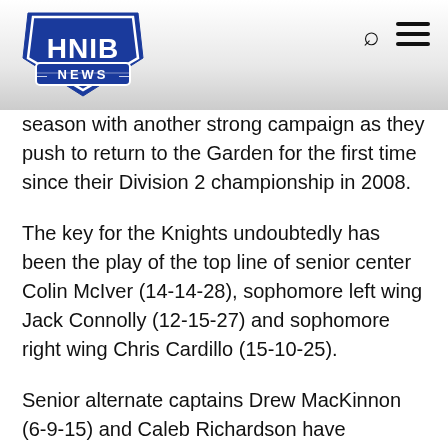HNIB NEWS
season with another strong campaign as they push to return to the Garden for the first time since their Division 2 championship in 2008.
The key for the Knights undoubtedly has been the play of the top line of senior center Colin McIver (14-14-28), sophomore left wing Jack Connolly (12-15-27) and sophomore right wing Chris Cardillo (15-10-25).
Senior alternate captains Drew MacKinnon (6-9-15) and Caleb Richardson have provided strong secondary scoring along with senior captain Kevin Jordan (5-3-8).